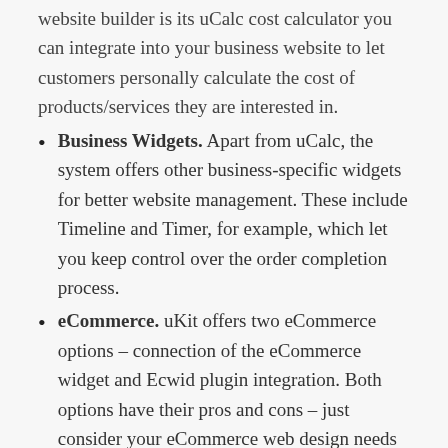website builder is its uCalc cost calculator you can integrate into your business website to let customers personally calculate the cost of products/services they are interested in.
Business Widgets. Apart from uCalc, the system offers other business-specific widgets for better website management. These include Timeline and Timer, for example, which let you keep control over the order completion process.
eCommerce. uKit offers two eCommerce options – connection of the eCommerce widget and Ecwid plugin integration. Both options have their pros and cons – just consider your eCommerce web design needs and budget to decide on the most suitable option.
Speaking about the cost aspect, uKit is one of the most affordable, if not even cheapest, small business website builders on the market. For example, there's a